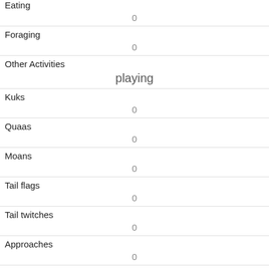| Eating | 0 |
| Foraging | 0 |
| Other Activities | playing |
| Kuks | 0 |
| Quaas | 0 |
| Moans | 0 |
| Tail flags | 0 |
| Tail twitches | 0 |
| Approaches | 0 |
| Indifferent | 1 |
| Runs from |  |